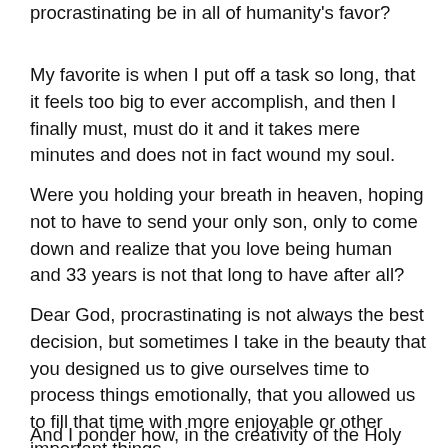procrastinating be in all of humanity's favor?
My favorite is when I put off a task so long, that it feels too big to ever accomplish, and then I finally must, must do it and it takes mere minutes and does not in fact wound my soul.
Were you holding your breath in heaven, hoping not to have to send your only son, only to come down and realize that you love being human and 33 years is not that long to have after all?
Dear God, procrastinating is not always the best decision, but sometimes I take in the beauty that you designed us to give ourselves time to process things emotionally, that you allowed us to fill that time with more enjoyable or other important things.
And I ponder how, in the creativity of the Holy Spirit of